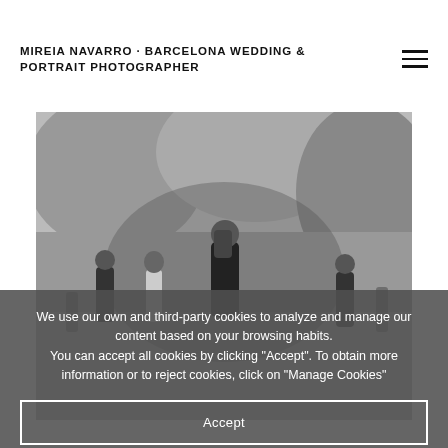MIREIA NAVARRO · BARCELONA WEDDING & PORTRAIT PHOTOGRAPHER
[Figure (photo): Black and white photograph of a family with children playing near a rocky cave/beach area. A woman holds a baby/toddler in the center while other children are visible around her.]
We use our own and third-party cookies to analyze and manage our content based on your browsing habits. You can accept all cookies by clicking "Accept". To obtain more information or to reject cookies, click on "Manage Cookies"
Accept
Manage Cookies